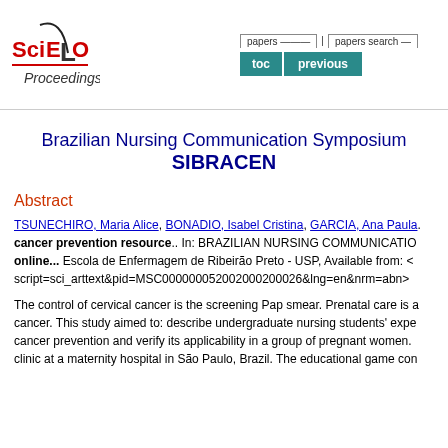[Figure (logo): SciELO Proceedings logo with navigation buttons: toc and previous]
Brazilian Nursing Communication Symposium SIBRACEN
Abstract
TSUNECHIRO, Maria Alice, BONADIO, Isabel Cristina, GARCIA, Ana Paula. cancer prevention resource.. In: BRAZILIAN NURSING COMMUNICATION online... Escola de Enfermagem de Ribeirão Preto - USP, Available from: < script=sci_arttext&pid=MSC000000052002000200026&lng=en&nrm=abn>
The control of cervical cancer is the screening Pap smear. Prenatal care is a cancer. This study aimed to: describe undergraduate nursing students' experience in cancer prevention and verify its applicability in a group of pregnant women. clinic at a maternity hospital in São Paulo, Brazil. The educational game con